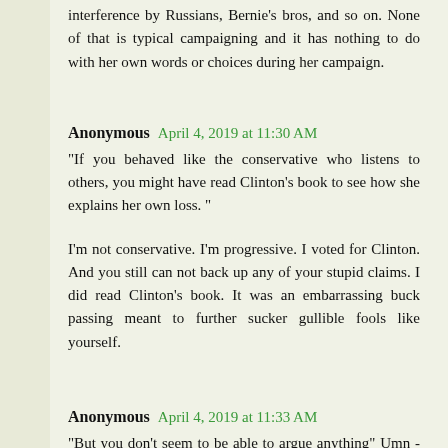interference by Russians, Bernie's bros, and so on. None of that is typical campaigning and it has nothing to do with her own words or choices during her campaign.
Anonymous April 4, 2019 at 11:30 AM
"If you behaved like the conservative who listens to others, you might have read Clinton's book to see how she explains her own loss. "
I'm not conservative. I'm progressive. I voted for Clinton. And you still can not back up any of your stupid claims. I did read Clinton's book. It was an embarrassing buck passing meant to further sucker gullible fools like yourself.
Anonymous April 4, 2019 at 11:33 AM
"But you don't seem to be able to argue anything" Umn - yes I have. I have argued and defeated you.